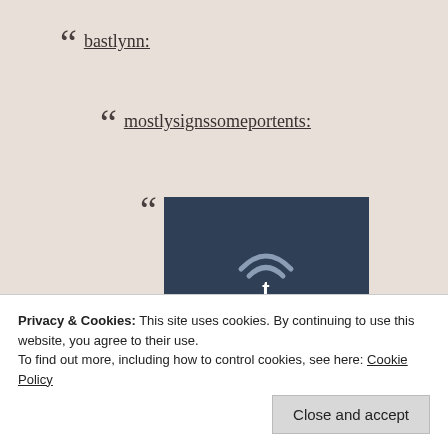bastlynn:
mostlysignssomeportents:
[Figure (screenshot): Tumblr placeholder image: dark blue rectangle with a WiFi-style arc icon above the letter 't' in white]
Privacy & Cookies: This site uses cookies. By continuing to use this website, you agree to their use.
To find out more, including how to control cookies, see here: Cookie Policy
Close and accept
of a phone company, and